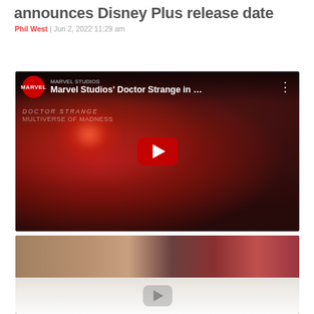announces Disney Plus release date
Phil West | Jun 2, 2022 11:29 am
[Figure (screenshot): YouTube video thumbnail for Marvel Studios' Doctor Strange in the Multiverse of Madness, showing Doctor Strange with a glowing red orb, with YouTube play button overlay]
[Figure (photo): Image showing two characters - a young man (Peter Parker/Tom Holland) on the left and Daredevil in red helmet on the right, with a faded play button overlay below]